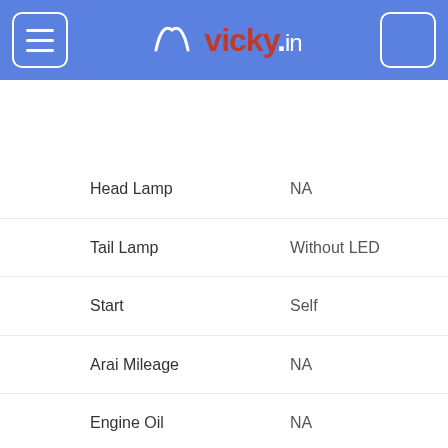vicky.in
| Feature | Value |
| --- | --- |
| Head Lamp | NA |
| Tail Lamp | Without LED |
| Start | Self |
| Arai Mileage | NA |
| Engine Oil | NA |
| Front Tyre Pressure(Rider) | NA |
| Rear Tyre Pressure(Rider) | NA |